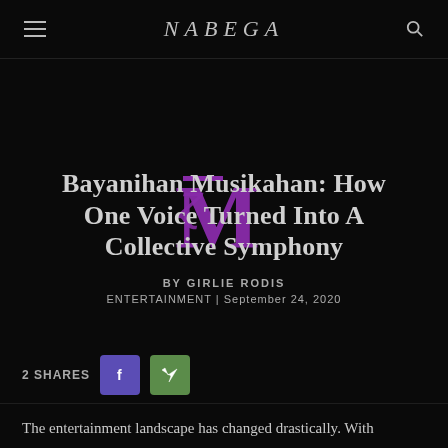NÁBEGA
Bayanihan Musikahan: How One Voice Turned Into A Collective Symphony
BY GIRLIE RODIS
ENTERTAINMENT | September 24, 2020
2 SHARES
The entertainment landscape has changed drastically. With